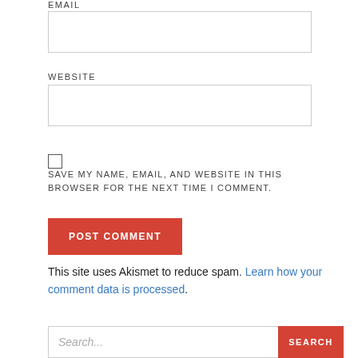EMAIL
WEBSITE
SAVE MY NAME, EMAIL, AND WEBSITE IN THIS BROWSER FOR THE NEXT TIME I COMMENT.
POST COMMENT
This site uses Akismet to reduce spam. Learn how your comment data is processed.
Search...